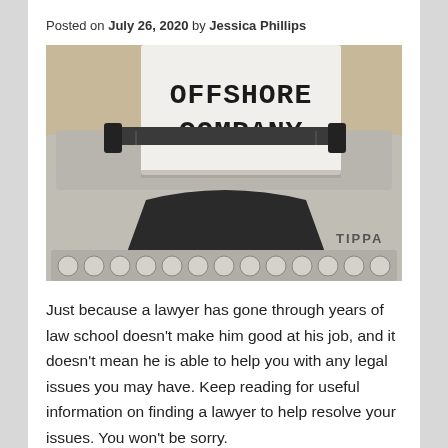Posted on July 26, 2020 by Jessica Phillips
[Figure (photo): A vintage typewriter with a sheet of paper inserted showing the typed words OFFSHORE COMPANY in large bold letters. The typewriter brand TIPPA is visible at the bottom right.]
Just because a lawyer has gone through years of law school doesn't make him good at his job, and it doesn't mean he is able to help you with any legal issues you may have. Keep reading for useful information on finding a lawyer to help resolve your issues. You won't be sorry.